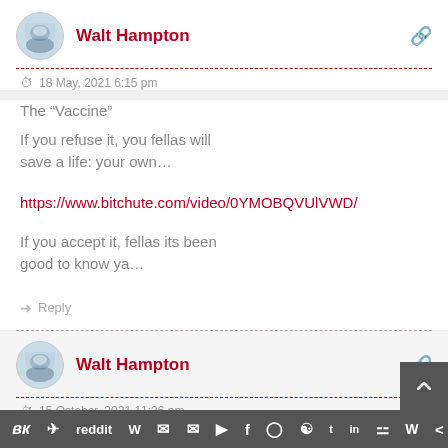Walt Hampton
18 May, 2021 6:15 pm
The “Vaccine”

If you refuse it, you fellas will save a life: your own…
https://www.bitchute.com/video/0YMOBQVUlVWD/
If you accept it, fellas its been good to know ya…
Reply
Walt Hampton
15 October, 2021 11:36 pm